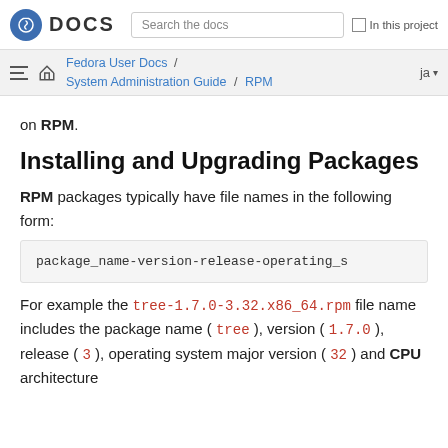Fedora DOCS | Search the docs | In this project
Fedora User Docs / System Administration Guide / RPM | ja
on RPM.
Installing and Upgrading Packages
RPM packages typically have file names in the following form:
package_name-version-release-operating_s
For example the tree-1.7.0-3.32.x86_64.rpm file name includes the package name ( tree ), version ( 1.7.0 ), release ( 3 ), operating system major version ( 32 ) and CPU architecture